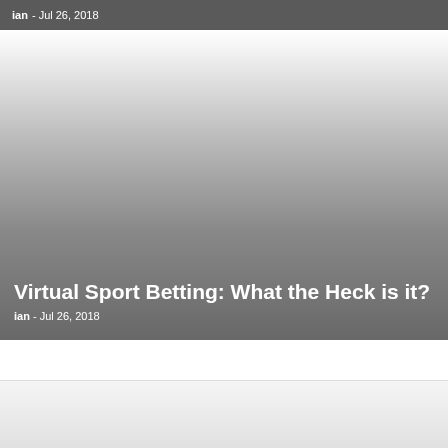ian - Jul 26, 2018
[Figure (photo): Hero image with gradient from white at top to dark gray at bottom, representing a virtual sports betting article thumbnail]
Virtual Sport Betting: What the Heck is it?
ian - Jul 26, 2018